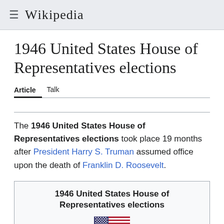Wikipedia
1946 United States House of Representatives elections
Article   Talk
The 1946 United States House of Representatives elections took place 19 months after President Harry S. Truman assumed office upon the death of Franklin D. Roosevelt.
| 1946 United States House of Representatives elections |
| --- |
| [flag] |